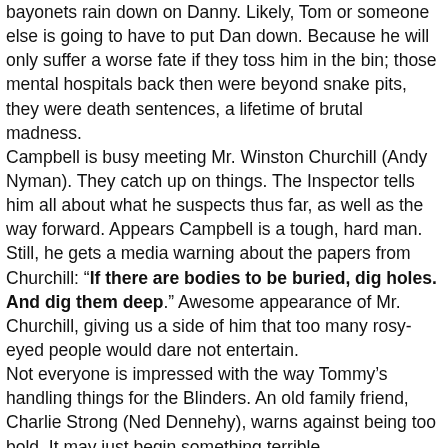bayonets rain down on Danny. Likely, Tom or someone else is going to have to put Dan down. Because he will only suffer a worse fate if they toss him in the bin; those mental hospitals back then were beyond snake pits, they were death sentences, a lifetime of brutal madness.
Campbell is busy meeting Mr. Winston Churchill (Andy Nyman). They catch up on things. The Inspector tells him all about what he suspects thus far, as well as the way forward. Appears Campbell is a tough, hard man. Still, he gets a media warning about the papers from Churchill: "If there are bodies to be buried, dig holes. And dig them deep." Awesome appearance of Mr. Churchill, giving us a side of him that too many rosy-eyed people would dare not entertain.
Not everyone is impressed with the way Tommy's handling things for the Blinders. An old family friend, Charlie Strong (Ned Dennehy), warns against being too bold. It may just begin something terrible.